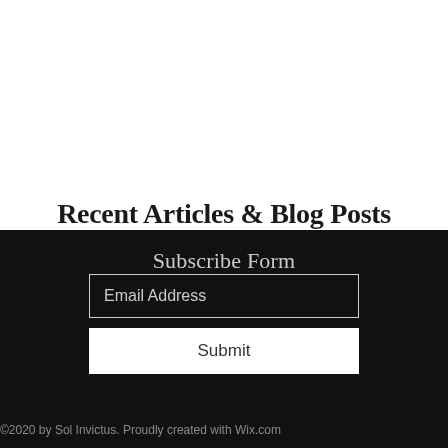Recent Articles & Blog Posts
Subscribe Form
Email Address
Submit
©2020 by Sol Invictus. Proudly created with Wix.com